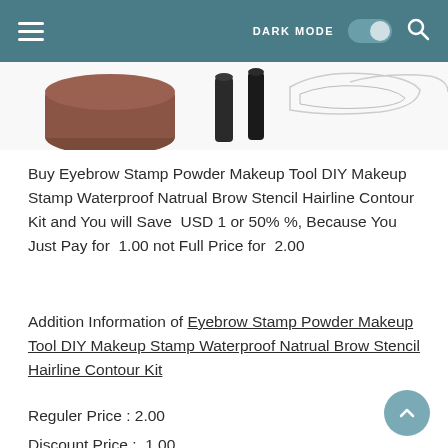DARK MODE [toggle] [search]
[Figure (photo): Product image showing eyebrow stamp powder makeup tool kit components including a round container, applicator, and stencils on white background]
Buy Eyebrow Stamp Powder Makeup Tool DIY Makeup Stamp Waterproof Natrual Brow Stencil Hairline Contour Kit and You will Save  USD 1 or 50% %, Because You Just Pay for  1.00 not Full Price for  2.00
Addition Information of Eyebrow Stamp Powder Makeup Tool DIY Makeup Stamp Waterproof Natrual Brow Stencil Hairline Contour Kit
Reguler Price : 2.00
Discount Price :  1.00
Saving   :  USD 1
Discount : 50% %